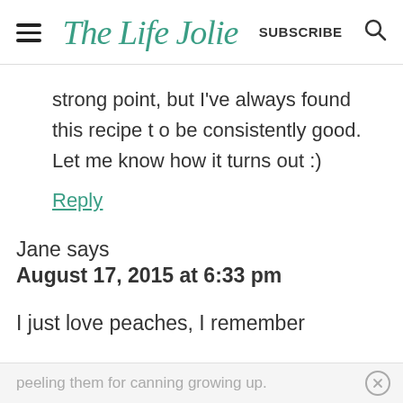The Life Jolie | SUBSCRIBE
strong point, but I've always found this recipe t o be consistently good. Let me know how it turns out :)
Reply
Jane says
August 17, 2015 at 6:33 pm
I just love peaches, I remember
peeling them for canning growing up.